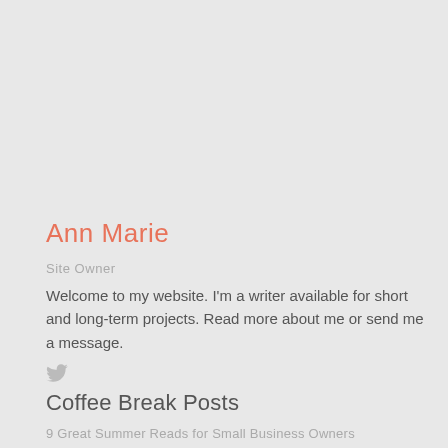Ann Marie
Site Owner
Welcome to my website. I'm a writer available for short and long-term projects. Read more about me or send me a message.
[Figure (illustration): Twitter bird icon in gray]
Coffee Break Posts
9 Great Summer Reads for Small Business Owners